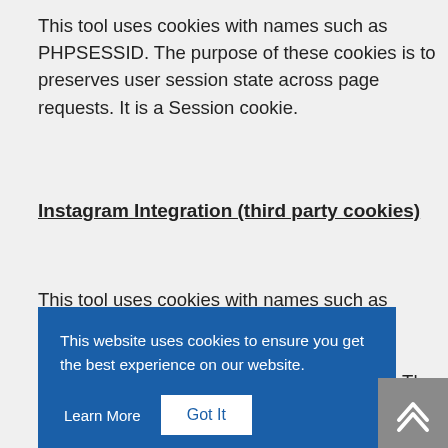This tool uses cookies with names such as PHPSESSID. The purpose of these cookies is to preserves user session state across page requests. It is a Session cookie.
Instagram Integration (third party cookies)
This tool uses cookies with names such as csrftoken. The purpose of these cookies is to prevent Cross-Site Request Forgery attacks. The cookie expires after 1 years.
This website uses cookies to ensure you get the best experience on our website.
...cookies)
This tool uses cookies with names such